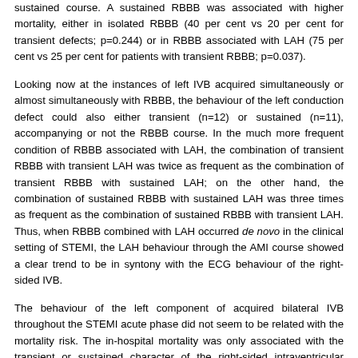sustained course. A sustained RBBB was associated with higher mortality, either in isolated RBBB (40 per cent vs 20 per cent for transient defects; p=0.244) or in RBBB associated with LAH (75 per cent vs 25 per cent for patients with transient RBBB; p=0.037).
Looking now at the instances of left IVB acquired simultaneously or almost simultaneously with RBBB, the behaviour of the left conduction defect could also either transient (n=12) or sustained (n=11), accompanying or not the RBBB course. In the much more frequent condition of RBBB associated with LAH, the combination of transient RBBB with transient LAH was twice as frequent as the combination of transient RBBB with sustained LAH; on the other hand, the combination of sustained RBBB with sustained LAH was three times as frequent as the combination of sustained RBBB with transient LAH. Thus, when RBBB combined with LAH occurred de novo in the clinical setting of STEMI, the LAH behaviour through the AMI course showed a clear trend to be in syntony with the ECG behaviour of the right-sided IVB.
The behaviour of the left component of acquired bilateral IVB throughout the STEMI acute phase did not seem to be related with the mortality risk. The in-hospital mortality was only associated with the transient or sustained character of the right-sided intraventricular conduction disturbance.